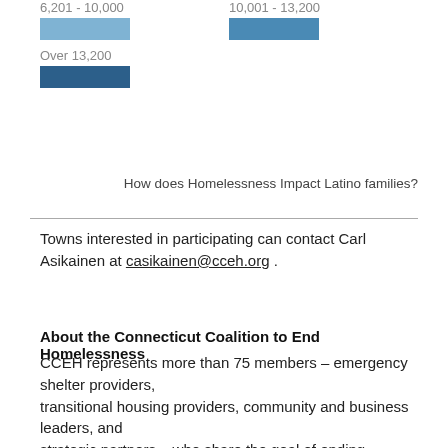[Figure (other): Legend showing color-coded bars for population ranges: 6,201-10,000 (light blue bar), 10,001-13,200 (medium blue bar), Over 13,200 (dark blue bar)]
How does Homelessness Impact Latino families?
Towns interested in participating can contact Carl Asikainen at casikainen@cceh.org .
About the Connecticut Coalition to End Homelessness
CCEH represents more than 75 members – emergency shelter providers, transitional housing providers, community and business leaders, and strategic partners – who share the goal of ending homelessness. In